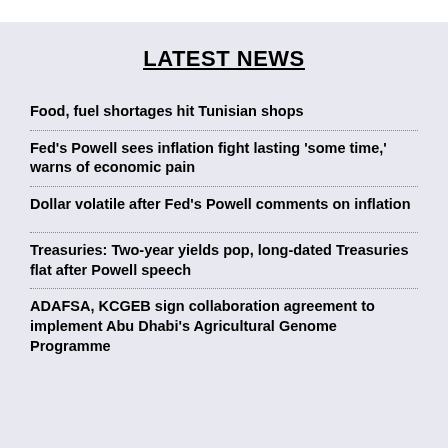LATEST NEWS
Food, fuel shortages hit Tunisian shops
Fed's Powell sees inflation fight lasting 'some time,' warns of economic pain
Dollar volatile after Fed's Powell comments on inflation
Treasuries: Two-year yields pop, long-dated Treasuries flat after Powell speech
ADAFSA, KCGEB sign collaboration agreement to implement Abu Dhabi's Agricultural Genome Programme